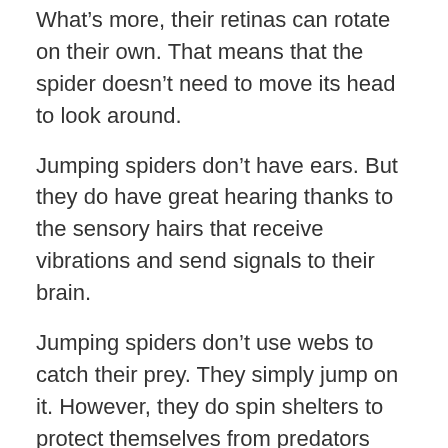What's more, their retinas can rotate on their own. That means that the spider doesn't need to move its head to look around.
Jumping spiders don't have ears. But they do have great hearing thanks to the sensory hairs that receive vibrations and send signals to their brain.
Jumping spiders don't use webs to catch their prey. They simply jump on it. However, they do spin shelters to protect themselves from predators and bad weather.
Interesting facts about the Jumping Spider
To impress their mating partners, males sing and … dance. They wave their legs in the air and beat their abdomens and tap their feet on the ground. The sensory hairs on the female's legs perceive the vibrations. As for the singing, males buzz, click, and tap. The Myrmarachne melanocephala species is